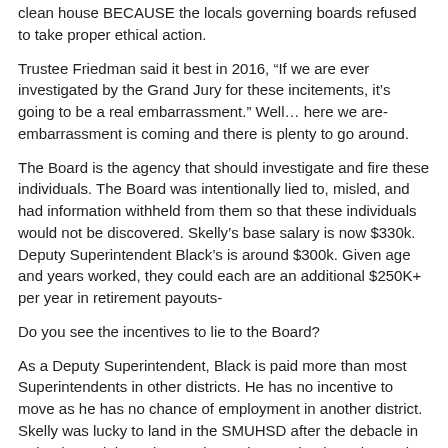clean house BECAUSE the locals governing boards refused to take proper ethical action.
Trustee Friedman said it best in 2016, “If we are ever investigated by the Grand Jury for these incitements, it’s going to be a real embarrassment.” Well… here we are- embarrassment is coming and there is plenty to go around.
The Board is the agency that should investigate and fire these individuals. The Board was intentionally lied to, misled, and had information withheld from them so that these individuals would not be discovered. Skelly’s base salary is now $330k. Deputy Superintendent Black’s is around $300k. Given age and years worked, they could each are an additional $250K+ per year in retirement payouts-
Do you see the incentives to lie to the Board?
As a Deputy Superintendent, Black is paid more than most Superintendents in other districts. He has no incentive to move as he has no chance of employment in another district. Skelly was lucky to land in the SMUHSD after the debacle in Palo Alto and through experience, knows that he only needs to keep the Board members happy to stay employed.